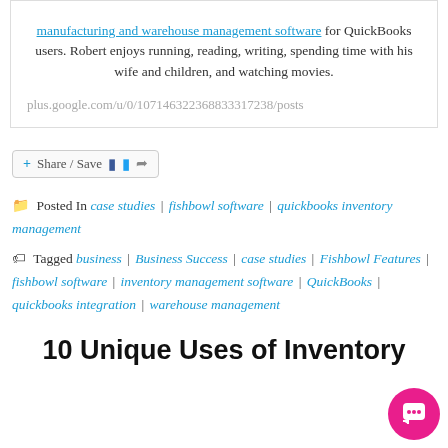manufacturing and warehouse management software for QuickBooks users. Robert enjoys running, reading, writing, spending time with his wife and children, and watching movies.

plus.google.com/u/0/107146322368833317238/posts
[Figure (other): Share / Save button with plus, Facebook, Twitter, and share icons]
Posted In case studies | fishbowl software | quickbooks inventory management
Tagged business | Business Success | case studies | Fishbowl Features | fishbowl software | inventory management software | QuickBooks | quickbooks integration | warehouse management
10 Unique Uses of Inventory